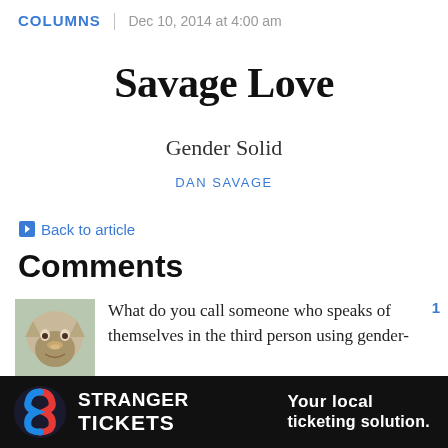COLUMNS | Dec 10, 2014 at 4:00 am
Savage Love
Gender Solid
DAN SAVAGE
← Back to article
Comments
What do you call someone who speaks of themselves in the third person using gender-
1
[Figure (screenshot): Advertisement banner: Stranger Tickets - Your local ticketing solution.]